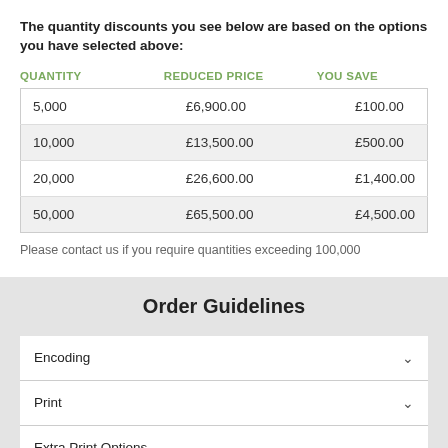The quantity discounts you see below are based on the options you have selected above:
| QUANTITY | REDUCED PRICE | YOU SAVE |
| --- | --- | --- |
| 5,000 | £6,900.00 | £100.00 |
| 10,000 | £13,500.00 | £500.00 |
| 20,000 | £26,600.00 | £1,400.00 |
| 50,000 | £65,500.00 | £4,500.00 |
Please contact us if you require quantities exceeding 100,000
Order Guidelines
Encoding
Print
Extra Print Options